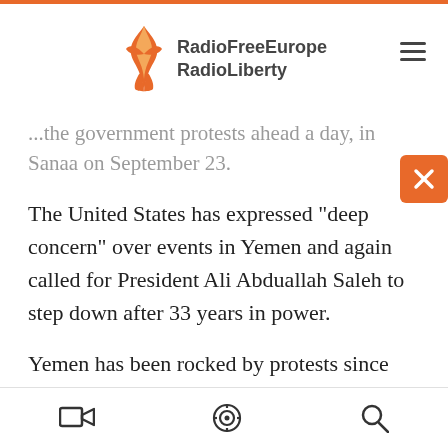RadioFreeEurope RadioLiberty
...the government protests ahead a day, in Sanaa on September 23.
The United States has expressed "deep concern" over events in Yemen and again called for President Ali Abduallah Saleh to step down after 33 years in power.
Yemen has been rocked by protests since January demanding the ouster of Saleh.
He returned to the country on Friday after three months of medical treatment in Saudi Arabia, sparking fresh fears of civil war.
video | podcast | search